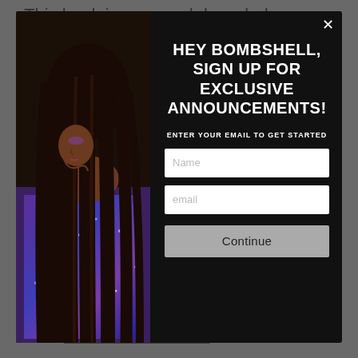This book is soo much knowledge of hair. Its so amazing. And I love the pics of it. So much volume
[Figure (screenshot): Modal popup overlay on a website. Left side shows a photo of a woman with long straight dark hair wearing a sparkly purple/blue sequin dress, viewed from behind/side profile against a dark background. Right side shows a black panel with white bold uppercase text: 'HEY BOMBSHELL, SIGN UP FOR EXCLUSIVE ANNOUNCEMENTS!' followed by 'ENTER YOUR EMAIL TO GET STARTED', two input fields labeled 'Name' and 'email', and a gray 'Continue' button. A close (X) button is in the top right corner.]
about FREE How To Start ...